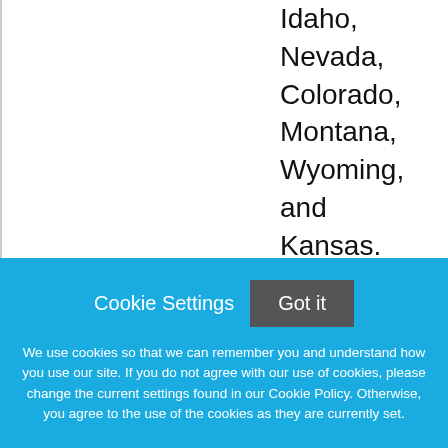Idaho, Nevada, Colorado, Montana, Wyoming, and Kansas.
With more than
Cookie Settings
Got it
We use cookies so that we can remember you and understand how you use our site. If you do not agree with our use of cookies, please change the current settings found in our Cookie Policy. Otherwise, you agree to the use of the cookies as they are currently set.